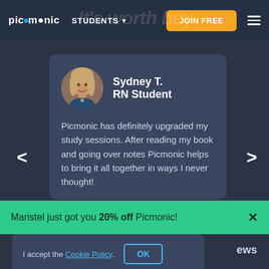picmonic | STUDENTS ▾ | JOIN FREE
[Figure (screenshot): Picmonic website testimonial page screenshot showing navigation bar with logo, STUDENTS dropdown, JOIN FREE button, hamburger menu, testimonial card with Sydney T. RN Student photo and quote, green notification bar 'Maristel just got you 20% off Picmonic!', and cookie consent bar.]
Sydney T.
RN Student
Picmonic has definitely upgraded my study sessions. After reading my book and going over notes Picmonic helps to bring it all together in ways I never thought!
Maristel just got you 20% off Picmonic!
I accept the Cookie Policy.